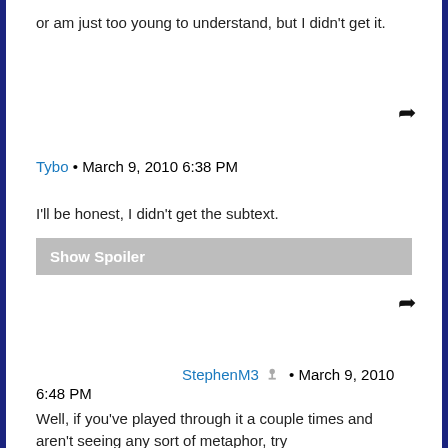or am just too young to understand, but I didn't get it.
Tybo • March 9, 2010 6:38 PM
I'll be honest, I didn't get the subtext.
Show Spoiler
StephenM3 • March 9, 2010 6:48 PM
Well, if you've played through it a couple times and aren't seeing any sort of metaphor, try
Show Spoiler
Show Spoiler